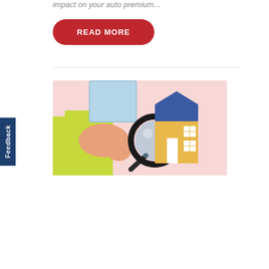impact on your auto premium...
READ MORE
[Figure (illustration): Illustration of a person in a yellow safety vest holding a magnifying glass, with a small house with a blue roof and yellow walls in the background on a pink/salmon background.]
Feedback